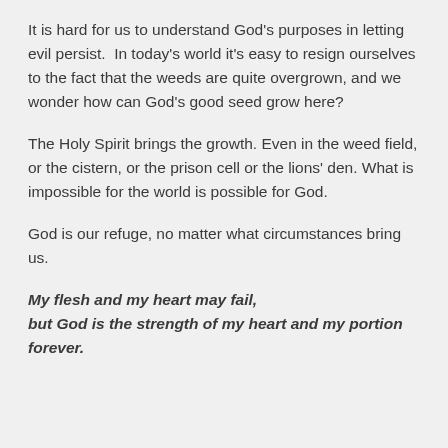It is hard for us to understand God's purposes in letting evil persist.  In today's world it's easy to resign ourselves to the fact that the weeds are quite overgrown, and we wonder how can God's good seed grow here?
The Holy Spirit brings the growth. Even in the weed field, or the cistern, or the prison cell or the lions' den. What is impossible for the world is possible for God.
God is our refuge, no matter what circumstances bring us.
My flesh and my heart may fail,
but God is the strength of my heart and my portion forever.